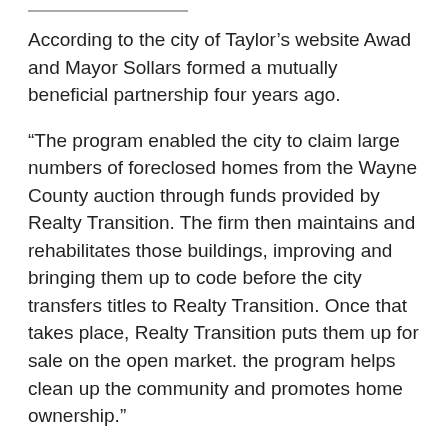According to the city of Taylor’s website Awad and Mayor Sollars formed a mutually beneficial partnership four years ago.
"The program enabled the city to claim large numbers of foreclosed homes from the Wayne County auction through funds provided by Realty Transition. The firm then maintains and rehabilitates those buildings, improving and bringing them up to code before the city transfers titles to Realty Transition. Once that takes place, Realty Transition puts them up for sale on the open market. the program helps clean up the community and promotes home ownership."
Now it appears their relationship is under federal scrutiny. This is leading to many questions in the city of